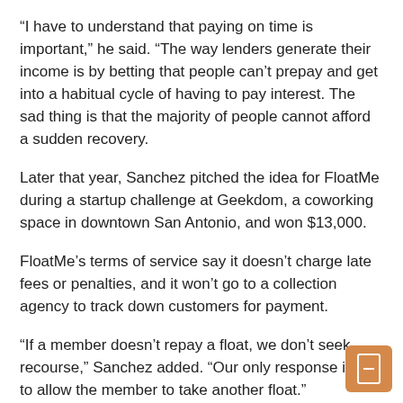“I have to understand that paying on time is important,” he said. “The way lenders generate their income is by betting that people can’t prepay and get into a habitual cycle of having to pay interest. The sad thing is that the majority of people cannot afford a sudden recovery.
Later that year, Sanchez pitched the idea for FloatMe during a startup challenge at Geekdom, a coworking space in downtown San Antonio, and won $13,000.
FloatMe’s terms of service say it doesn’t charge late fees or penalties, and it won’t go to a collection agency to track down customers for payment.
“If a member doesn’t repay a float, we don’t seek recourse,” Sanchez added. “Our only response is not to allow the member to take another float.”
Still, consumer advocates remain wary of cash advance companies because they aren’t regulated like payday lenders.